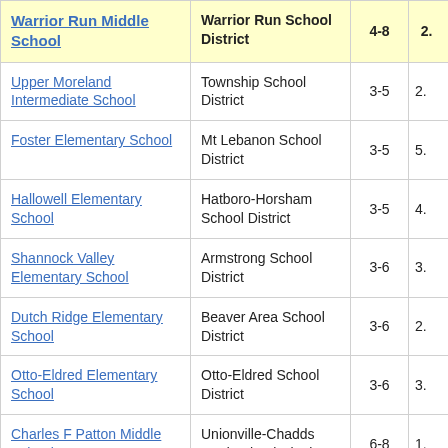| School | District | Grades | Score |
| --- | --- | --- | --- |
| Warrior Run Middle School | Warrior Run School District | 4-8 | 2. |
| Upper Moreland Intermediate School | Township School District | 3-5 | 2. |
| Foster Elementary School | Mt Lebanon School District | 3-5 | 5. |
| Hallowell Elementary School | Hatboro-Horsham School District | 3-5 | 4. |
| Shannock Valley Elementary School | Armstrong School District | 3-6 | 3. |
| Dutch Ridge Elementary School | Beaver Area School District | 3-6 | 2. |
| Otto-Eldred Elementary School | Otto-Eldred School District | 3-6 | 3. |
| Charles F Patton Middle School | Unionville-Chadds Ford School District | 6-8 | 1. |